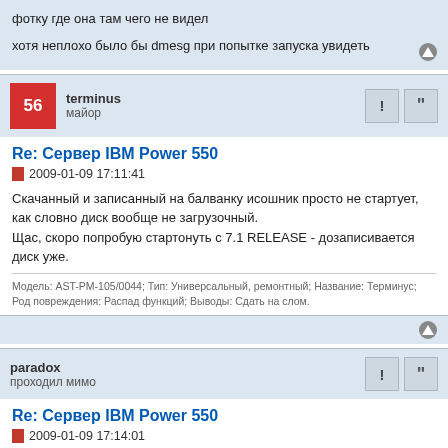фотку где она там чего не видел
хотя неплохо было бы dmesg при попытке запуска увидеть
terminus
майор
Re: Сервер IBM Power 550
2009-01-09 17:11:41
Скачанный и записанный на балванку исошник просто не стартует, как словно диск вообще не загрузочный.
Щас, скоро попробую стартонуть с 7.1 RELEASE - дозаписивается диск уже.
Модель: AST-PM-105/0044; Тип: Универсальный, ремонтный; Название: Терминус; Род повреждения: Распад функций; Выводы: Сдать на слом.
paradox
проходил мимо
Re: Сервер IBM Power 550
2009-01-09 17:14:01